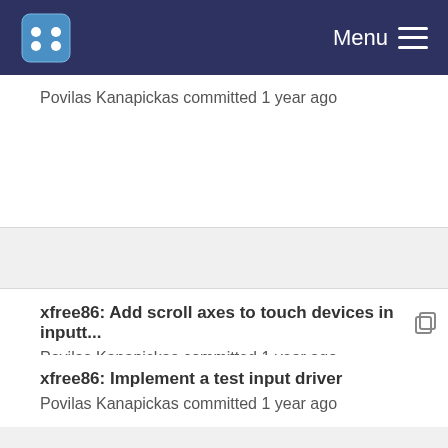Menu
Povilas Kanapickas committed 1 year ago
xfree86: Add scroll axes to touch devices in inputt...
Povilas Kanapickas committed 1 year ago
xfree86: Implement a test input driver
Povilas Kanapickas committed 1 year ago